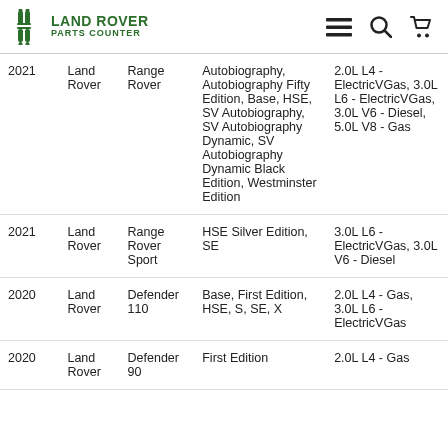LAND ROVER PARTS COUNTER
| Year | Make | Model | Trim | Engine |
| --- | --- | --- | --- | --- |
| 2021 | Land Rover | Range Rover | Autobiography, Autobiography Fifty Edition, Base, HSE, SV Autobiography, SV Autobiography Dynamic, SV Autobiography Dynamic Black Edition, Westminster Edition | 2.0L L4 - ElectricVGas, 3.0L L6 - ElectricVGas, 3.0L V6 - Diesel, 5.0L V8 - Gas |
| 2021 | Land Rover | Range Rover Sport | HSE Silver Edition, SE | 3.0L L6 - ElectricVGas, 3.0L V6 - Diesel |
| 2020 | Land Rover | Defender 110 | Base, First Edition, HSE, S, SE, X | 2.0L L4 - Gas, 3.0L L6 - ElectricVGas |
| 2020 | Land Rover | Defender 90 | First Edition | 2.0L L4 - Gas |